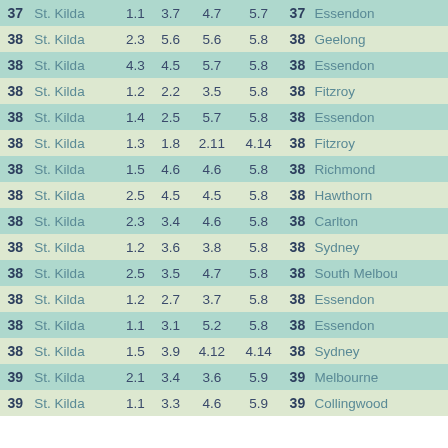| Score | Team | Q1 | Q2 | Q3 | Q4 | Score | Opponent |
| --- | --- | --- | --- | --- | --- | --- | --- |
| 37 | St. Kilda | 1.1 | 3.7 | 4.7 | 5.7 | 37 | Essendon |
| 38 | St. Kilda | 2.3 | 5.6 | 5.6 | 5.8 | 38 | Geelong |
| 38 | St. Kilda | 4.3 | 4.5 | 5.7 | 5.8 | 38 | Essendon |
| 38 | St. Kilda | 1.2 | 2.2 | 3.5 | 5.8 | 38 | Fitzroy |
| 38 | St. Kilda | 1.4 | 2.5 | 5.7 | 5.8 | 38 | Essendon |
| 38 | St. Kilda | 1.3 | 1.8 | 2.11 | 4.14 | 38 | Fitzroy |
| 38 | St. Kilda | 1.5 | 4.6 | 4.6 | 5.8 | 38 | Richmond |
| 38 | St. Kilda | 2.5 | 4.5 | 4.5 | 5.8 | 38 | Hawthorn |
| 38 | St. Kilda | 2.3 | 3.4 | 4.6 | 5.8 | 38 | Carlton |
| 38 | St. Kilda | 1.2 | 3.6 | 3.8 | 5.8 | 38 | Sydney |
| 38 | St. Kilda | 2.5 | 3.5 | 4.7 | 5.8 | 38 | South Melbourne |
| 38 | St. Kilda | 1.2 | 2.7 | 3.7 | 5.8 | 38 | Essendon |
| 38 | St. Kilda | 1.1 | 3.1 | 5.2 | 5.8 | 38 | Essendon |
| 38 | St. Kilda | 1.5 | 3.9 | 4.12 | 4.14 | 38 | Sydney |
| 39 | St. Kilda | 2.1 | 3.4 | 3.6 | 5.9 | 39 | Melbourne |
| 39 | St. Kilda | 1.1 | 3.3 | 4.6 | 5.9 | 39 | Collingwood |